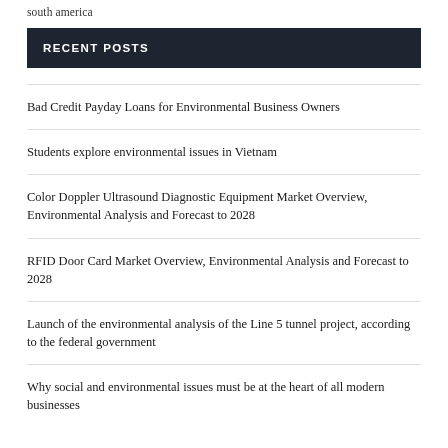south america
RECENT POSTS
Bad Credit Payday Loans for Environmental Business Owners
Students explore environmental issues in Vietnam
Color Doppler Ultrasound Diagnostic Equipment Market Overview, Environmental Analysis and Forecast to 2028
RFID Door Card Market Overview, Environmental Analysis and Forecast to 2028
Launch of the environmental analysis of the Line 5 tunnel project, according to the federal government
Why social and environmental issues must be at the heart of all modern businesses